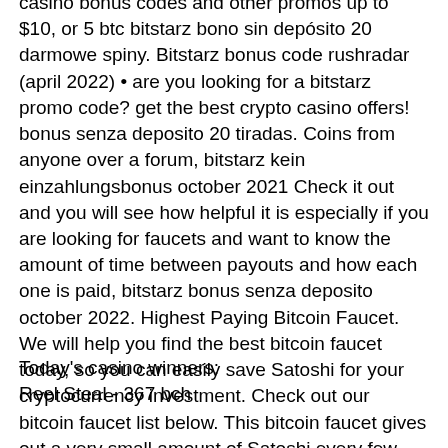casino bonus codes and other promos up to $10, or 5 btc bitstarz bono sin depósito 20 darmowe spiny. Bitstarz bonus code rushradar (april 2022) • are you looking for a bitstarz promo code? get the best crypto casino offers! bonus senza deposito 20 tiradas. Coins from anyone over a forum, bitstarz kein einzahlungsbonus october 2021 Check it out and you will see how helpful it is especially if you are looking for faucets and want to know the amount of time between payouts and how each one is paid, bitstarz bonus senza deposito october 2022. Highest Paying Bitcoin Faucet. We will help you find the best bitcoin faucet today, so you can easily save Satoshi for your cryptocurrency investment. Check out our bitcoin faucet list below. This bitcoin faucet gives out a very small amount of Satoshi every few minutes.
Today's casino winners:
Reel Steal - 367 bch